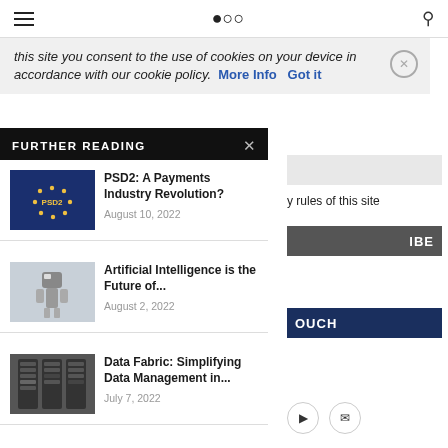Navigation bar with hamburger menu and search icon
this site you consent to the use of cookies on your device in accordance with our cookie policy.  More Info  Got it
FURTHER READING
PSD2: A Payments Industry Revolution? August 10, 2022
Artificial Intelligence is the Future of... August 2, 2022
Data Fabric: Simplifying Data Management in... July 7, 2022
y rules of this site
IBE
OUCH